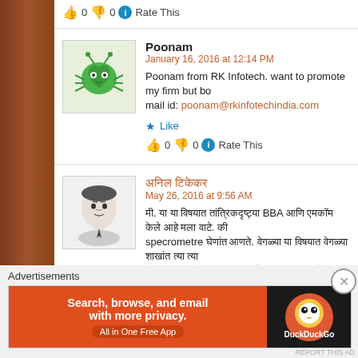👍 0 👎 0 ℹ Rate This
Poonam
January 16, 2016 at 12:14 PM
Poonam from RK Infotech. want to promote my firm but bo…
mail id: poonam@rkinfotechindia.com
★ Like
👍 0 👎 0 ℹ Rate This
Hindi name
May 26, 2016 at 9:56 AM
[Hindi text] BBA [Hindi text] specrometre [Hindi text] Q…
★ Like
Advertisements
[Figure (screenshot): DuckDuckGo ad banner: orange background with text 'Search, browse, and email with more privacy. All in One Free App' and DuckDuckGo logo on dark right panel]